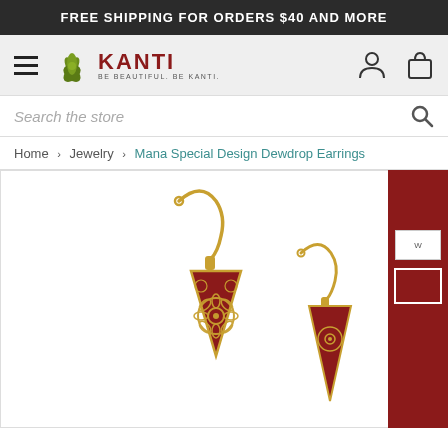FREE SHIPPING FOR ORDERS $40 AND MORE
[Figure (logo): Kanti jewelry brand logo with lotus flower icon and text 'KANTI - BE BEAUTIFUL. BE KANTI.']
Search the store
Home > Jewelry > Mana Special Design Dewdrop Earrings
[Figure (photo): Product photo of Mana Special Design Dewdrop Earrings - red triangular earrings with gold filigree flower design on fish hook wires, shown as a pair]